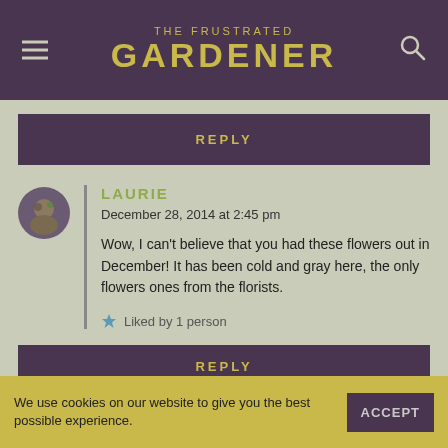THE FRUSTRATED GARDENER
REPLY
LAURIE
December 28, 2014 at 2:45 pm
Wow, I can't believe that you had these flowers out in December! It has been cold and gray here, the only flowers ones from the florists.
Liked by 1 person
REPLY
We use cookies on our website to give you the best possible experience.